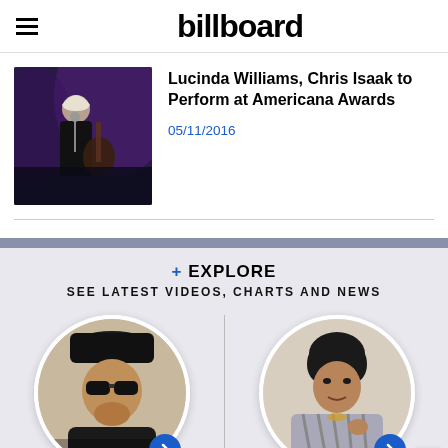billboard
[Figure (photo): Lucinda Williams performing on stage with a guitar, wearing black jacket, with purple stage lighting]
Lucinda Williams, Chris Isaak to Perform at Americana Awards
05/11/2016
+ EXPLORE
SEE LATEST VIDEOS, CHARTS AND NEWS
[Figure (photo): Circular portrait of Gene Simmons wearing black hat and sunglasses, with blue arrow button]
[Figure (photo): Circular portrait of Prince in silver/zebra patterned outfit, with blue arrow button]